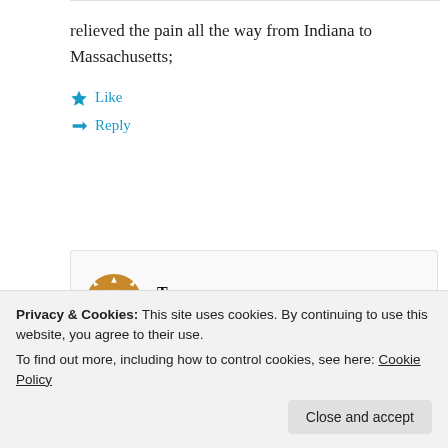relieved the pain all the way from Indiana to Massachusetts;
★ Like
↳ Reply
Tom
May 26, 2012 at 7:24 am
Privacy & Cookies: This site uses cookies. By continuing to use this website, you agree to their use.
To find out more, including how to control cookies, see here: Cookie Policy
Close and accept